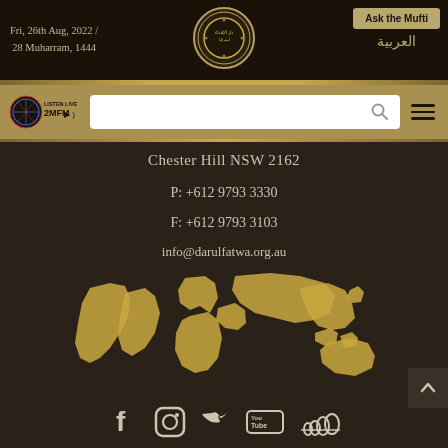Fri, 26th Aug, 2022 / 28 Muharram, 1444
[Figure (logo): Darul Fatwa circular emblem/seal logo in gold]
Ask the Mufti
العربية
[Figure (logo): 2MFM Listen Live radio logo with decorative globe icon]
[Figure (other): Search bar with magnifying glass icon]
Chester Hill NSW 2162
P: +612 9793 3330
F: +612 9793 3103
info@darulfatwa.org.au
[Figure (illustration): Gold world map silhouette on dark background]
[Figure (other): Social media icons row: Facebook, Instagram, Twitter, YouTube, SoundCloud]